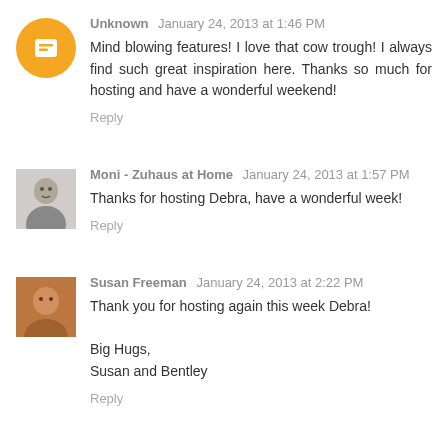Unknown January 24, 2013 at 1:46 PM
Mind blowing features! I love that cow trough! I always find such great inspiration here. Thanks so much for hosting and have a wonderful weekend!
Reply
Moni - Zuhaus at Home January 24, 2013 at 1:57 PM
Thanks for hosting Debra, have a wonderful week!
Reply
Susan Freeman January 24, 2013 at 2:22 PM
Thank you for hosting again this week Debra!

Big Hugs,
Susan and Bentley
Reply